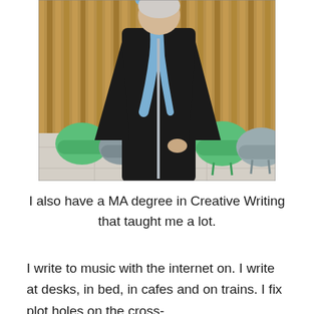[Figure (photo): Person wearing black academic graduation gown with light blue hood/stole, standing in a modern lobby with colorful rounded chairs (green, grey) and a wooden slat wall background.]
I also have a MA degree in Creative Writing that taught me a lot.
I write to music with the internet on. I write at desks, in bed, in cafes and on trains. I fix plot holes on the cross-